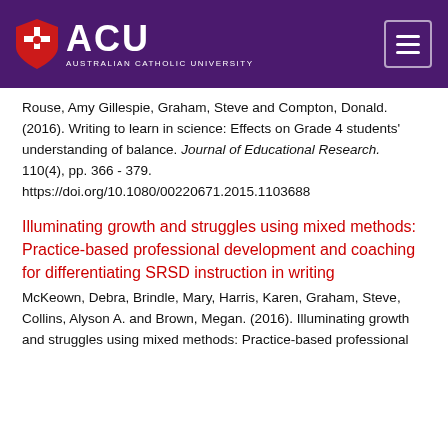[Figure (logo): ACU Australian Catholic University logo with shield on purple header background]
Rouse, Amy Gillespie, Graham, Steve and Compton, Donald. (2016). Writing to learn in science: Effects on Grade 4 students' understanding of balance. Journal of Educational Research. 110(4), pp. 366 - 379. https://doi.org/10.1080/00220671.2015.1103688
Illuminating growth and struggles using mixed methods: Practice-based professional development and coaching for differentiating SRSD instruction in writing
McKeown, Debra, Brindle, Mary, Harris, Karen, Graham, Steve, Collins, Alyson A. and Brown, Megan. (2016). Illuminating growth and struggles using mixed methods: Practice-based professional